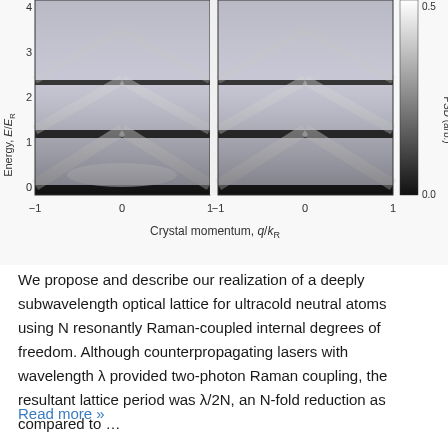[Figure (continuous-plot): Two-panel grayscale plot showing band structure (energy E/E_R vs crystal momentum q/k_R). Left panel and right panel with colorbar showing PSD (arb.) from 0.0 to 0.5. Y-axis labeled 'Energy, E/E_R' with ticks 0,1,2,3,4. X-axis labeled 'Crystal momentum, q/k_R' with ticks -1,0,1 for each panel.]
We propose and describe our realization of a deeply subwavelength optical lattice for ultracold neutral atoms using N resonantly Raman-coupled internal degrees of freedom. Although counterpropagating lasers with wavelength λ provided two-photon Raman coupling, the resultant lattice period was λ/2N, an N-fold reduction as compared to ...
Read more »